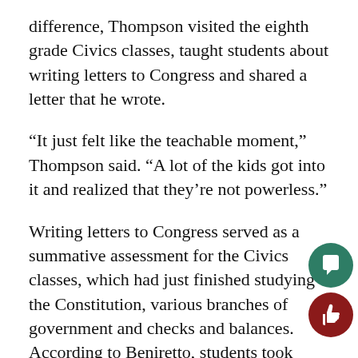difference, Thompson visited the eighth grade Civics classes, taught students about writing letters to Congress and shared a letter that he wrote.
“It just felt like the teachable moment,” Thompson said. “A lot of the kids got into it and realized that they’re not powerless.”
Writing letters to Congress served as a summative assessment for the Civics classes, which had just finished studying the Constitution, various branches of government and checks and balances. According to Beniretto, students took their knowledge from the course to compose letters.
“We’re trying to get the students to live the cours… Beniretto said. “They’re not going to remember a lo… of the facts that we teach, but if they can remem… the fact that they have power and tools to use, tha…